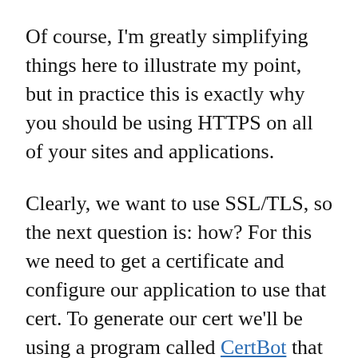Of course, I'm greatly simplifying things here to illustrate my point, but in practice this is exactly why you should be using HTTPS on all of your sites and applications.
Clearly, we want to use SSL/TLS, so the next question is: how? For this we need to get a certificate and configure our application to use that cert. To generate our cert we'll be using a program called CertBot that generates a free cert via a service called Let's Encrypt. There aren't a lot of steps to do this, but in my personal experience it can be tricky to get working in certain environments and with certain